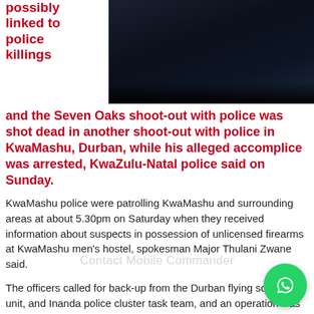possibly linked to police killings
[Figure (photo): Dark photo, possibly nighttime scene with blue and dark tones]
and the Seven Oaks shoot-out with police was shot dead in another shoot-out with police in KwaMashu, Durban, while his alleged accomplice was arrested, KwaZulu-Natal police said on Sunday.
KwaMashu police were patrolling KwaMashu and surrounding areas at about 5.30pm on Saturday when they received information about suspects in possession of unlicensed firearms at KwaMashu men's hostel, spokesman Major Thulani Zwane said.
The officers called for back-up from the Durban flying squad, K9 unit, and Inanda police cluster task team, and an operation was launched, he said. “A house was identified at the hostel and there were more than 15 suspects inside.
“It was penetrated and when the suspects noticed that they were approached by the police, one of them fired shots towards the